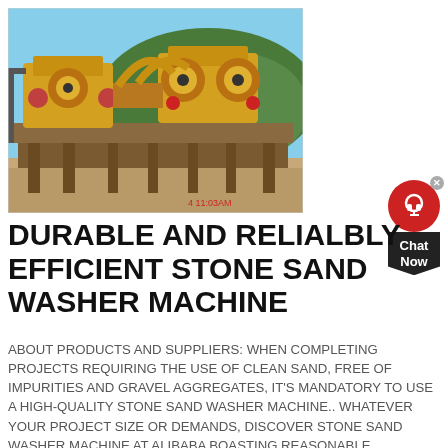[Figure (photo): Photograph of a large yellow industrial stone sand washer machine on a construction/mining site with a blue sky and green hillside in the background. Timestamp '4 11:03AM' visible in red at bottom right of photo.]
DURABLE AND RELIALBLY EFFICIENT STONE SAND WASHER MACHINE
ABOUT PRODUCTS AND SUPPLIERS: WHEN COMPLETING PROJECTS REQUIRING THE USE OF CLEAN SAND, FREE OF IMPURITIES AND GRAVEL AGGREGATES, IT'S MANDATORY TO USE A HIGH-QUALITY STONE SAND WASHER MACHINE.. WHATEVER YOUR PROJECT SIZE OR DEMANDS, DISCOVER STONE SAND WASHER MACHINE AT ALIBABA BOASTING REASONABLE CONSTRUCTION, HIGH PRODUCTION, AND HIGH EFFICIENCY.